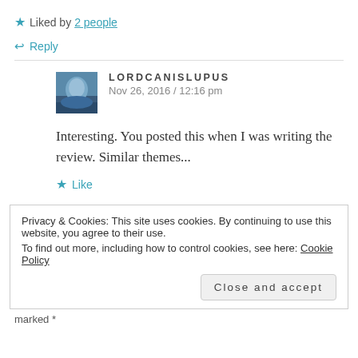★ Liked by 2 people
↩ Reply
LORDCANISLUPUS
Nov 26, 2016 / 12:16 pm
Interesting. You posted this when I was writing the review. Similar themes...
★ Like
Privacy & Cookies: This site uses cookies. By continuing to use this website, you agree to their use.
To find out more, including how to control cookies, see here: Cookie Policy
Close and accept
marked *